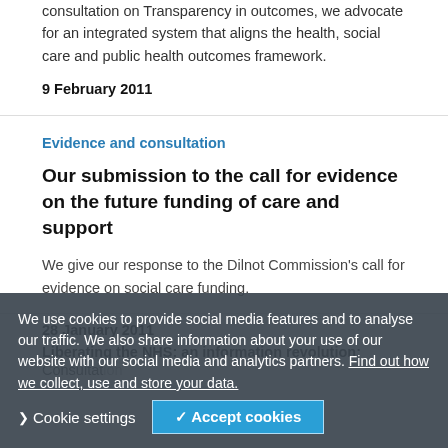consultation on Transparency in outcomes, we advocate for an integrated system that aligns the health, social care and public health outcomes framework.
9 February 2011
Evidence and consultation
Our submission to the call for evidence on the future funding of care and support
We give our response to the Dilnot Commission's call for evidence on social care funding.
28 January 2011
We use cookies to provide social media features and to analyse our traffic. We also share information about your use of our website with our social media and analytics partners. Find out how we collect, use and store your data.
Liberating the NHS: an information revolution:
Consultation